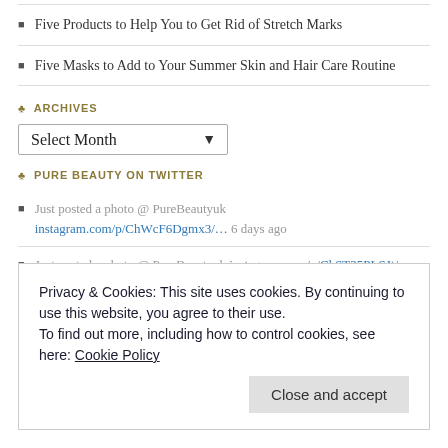Five Products to Help You to Get Rid of Stretch Marks
Five Masks to Add to Your Summer Skin and Hair Care Routine
ARCHIVES
Select Month
PURE BEAUTY ON TWITTER
Just posted a photo @ PureBeautyuk instagram.com/p/ChWcF6Dgmx3/… 6 days ago
Just posted a photo @ PureBeautyuk instagram.com/p/ChST25PLSJt/… 1 week ago
25% Off Medik8 Facials This offer is available to be booked with Diane and Lauren. Call reception now on 01543 54… twitter.com/i/web/status/1… 3 weeks ago
Privacy & Cookies: This site uses cookies. By continuing to use this website, you agree to their use.
To find out more, including how to control cookies, see here: Cookie Policy
Close and accept